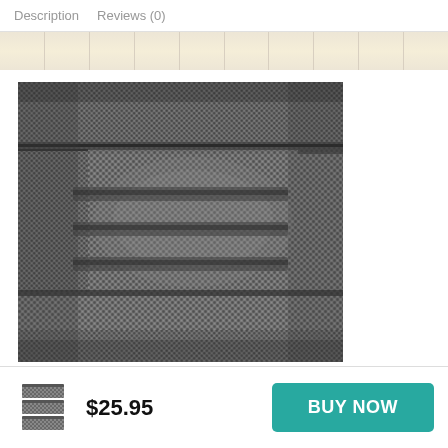Description   Reviews (0)
[Figure (photo): Thumbnail strip showing folded towels in light beige/natural color]
[Figure (photo): Close-up photograph of stacked gray textured terry cloth towels showing looped fabric detail]
[Figure (photo): Small product thumbnail of stacked gray towel set]
$25.95
BUY NOW